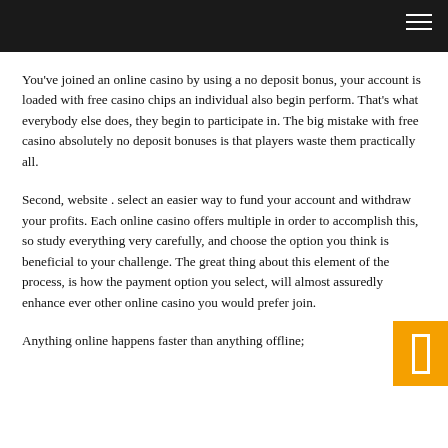You've joined an online casino by using a no deposit bonus, your account is loaded with free casino chips an individual also begin perform. That's what everybody else does, they begin to participate in. The big mistake with free casino absolutely no deposit bonuses is that players waste them practically all.
Second, website . select an easier way to fund your account and withdraw your profits. Each online casino offers multiple in order to accomplish this, so study everything very carefully, and choose the option you think is beneficial to your challenge. The great thing about this element of the process, is how the payment option you select, will almost assuredly enhance ever other online casino you would prefer join.
Anything online happens faster than anything offline;